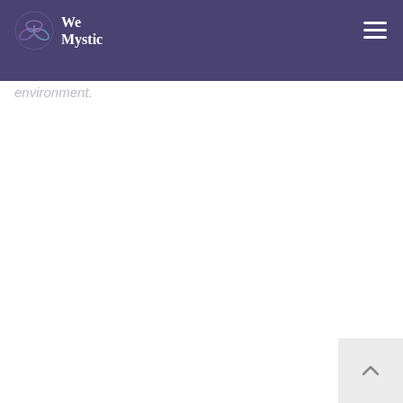We Mystic
environment.
[Figure (other): Back to top arrow button in light grey square at bottom right corner]